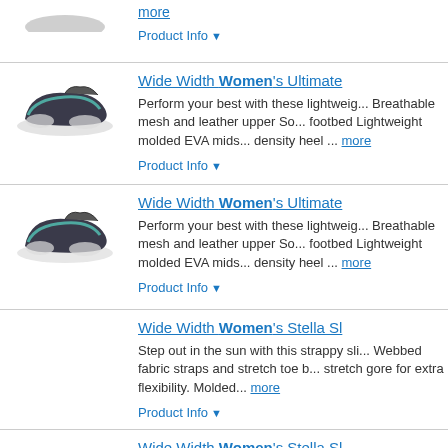more
Product Info ▼
Wide Width Women's Ultimate...
Perform your best with these lightweig... Breathable mesh and leather upper So... footbed Lightweight molded EVA mids... density heel ... more
Product Info ▼
[Figure (photo): Dark gray/teal athletic sneaker]
Wide Width Women's Ultimate...
Perform your best with these lightweig... Breathable mesh and leather upper So... footbed Lightweight molded EVA mids... density heel ... more
Product Info ▼
[Figure (photo): Dark gray/teal athletic sneaker side view]
Wide Width Women's Stella Sl...
Step out in the sun with this strappy sli... Webbed fabric straps and stretch toe b... stretch gore for extra flexibility. Molded... more
Product Info ▼
Wide Width Women's Stella Sl...
Step out in the sun with this strappy sli... Webbed fabric straps and stretch toe b... stretch gore for extra flexibility. Molded...
[Figure (photo): Pink/rose strappy sandal]